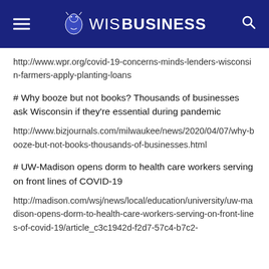WISBUSINESS
http://www.wpr.org/covid-19-concerns-minds-lenders-wisconsin-farmers-apply-planting-loans
# Why booze but not books? Thousands of businesses ask Wisconsin if they're essential during pandemic
http://www.bizjournals.com/milwaukee/news/2020/04/07/why-booze-but-not-books-thousands-of-businesses.html
# UW-Madison opens dorm to health care workers serving on front lines of COVID-19
http://madison.com/wsj/news/local/education/university/uw-madison-opens-dorm-to-health-care-workers-serving-on-front-lines-of-covid-19/article_c3c1942d-f2d7-57c4-b7c2-